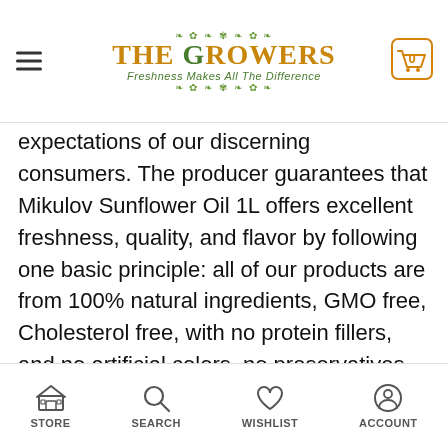The Growers – Freshness Makes All The Difference
expectations of our discerning consumers. The producer guarantees that Mikulov Sunflower Oil 1L offers excellent freshness, quality, and flavor by following one basic principle: all of our products are from 100% natural ingredients, GMO free, Cholesterol free, with no protein fillers, and no artificial colors, no preservatives or no flavorings used.
Our Mikulov Sunflower Oil, extracted from the seeds of sunflower, is an organic product. It has a pleasant smell with a deep amber color. This oil is also very
STORE  SEARCH  WISHLIST  ACCOUNT